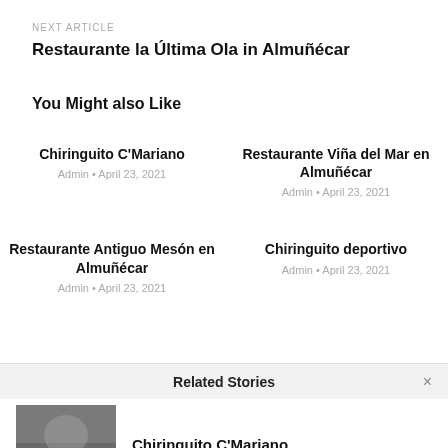NEXT ARTICLE
Restaurante la Última Ola in Almuñécar
You Might also Like
Chiringuito C'Mariano
Admin • April 23, 2021
Restaurante Viña del Mar en Almuñécar
Admin • April 23, 2021
Restaurante Antiguo Mesón en Almuñécar
Admin • April 23, 2021
Chiringuito deportivo
Admin • April 23, 2021
Related Stories
Chiringuito C'Mariano